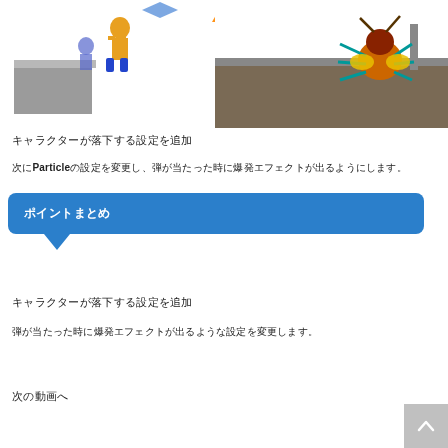[Figure (screenshot): Game screenshot split in two panels: left panel shows a cartoon character (orange/yellow figure) jumping over gray platforms on white background; right panel shows a colorful insect/bug character hitting a gray/brown wall platform.]
キャラクターが落下する設定を追加
次にParticleの設定を変更し、弾が当たった時に爆発エフェクトが出るようにします。
ポイントまとめ
キャラクターが落下する設定を追加
弾が当たった時に爆発エフェクトが出るような設定を変更します。
次の動画へ